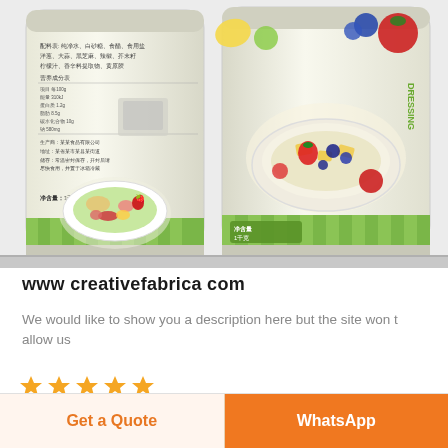[Figure (photo): Two food product packages side by side. Left: white/cream colored pouch with green stripes at bottom, Chinese text label on back, and a salad with fruits image. Right: white/cream colored pouch with green stripes, fruit salad bowl image on front with berries, mangoes and blueberries, and Chinese text 'DRESSING' visible.]
www creativefabrica com
We would like to show you a description here but the site won t allow us
[Figure (other): Five orange star rating icons]
Get a Quote
WhatsApp